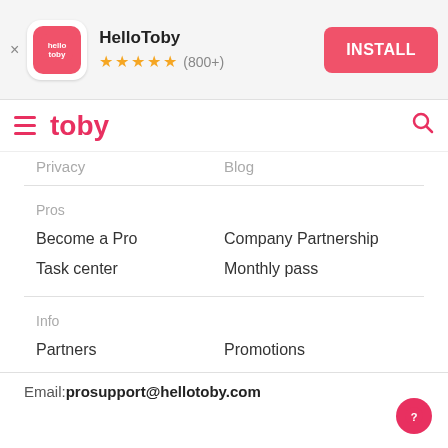[Figure (screenshot): HelloToby app install banner with logo icon, star rating (800+), and INSTALL button]
[Figure (screenshot): Toby website navigation bar with hamburger menu, toby logo, and search icon]
Privacy
Blog
Pros
Become a Pro
Company Partnership
Task center
Monthly pass
Info
Partners
Promotions
Email:prosupport@hellotoby.com